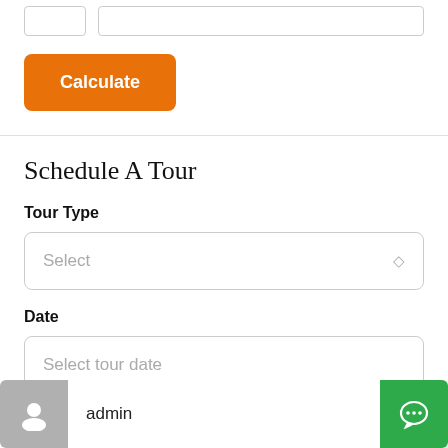[Figure (screenshot): Top input fields (small and large input boxes) partially visible at the top of the page]
Calculate
Schedule A Tour
Tour Type
Select
Date
Select tour date
Time
admin